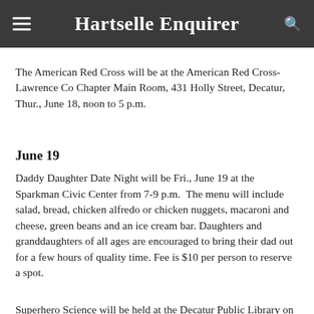Hartselle Enquirer
The American Red Cross will be at the American Red Cross-Lawrence Co Chapter Main Room, 431 Holly Street, Decatur, Thur., June 18, noon to 5 p.m.
June 19
Daddy Daughter Date Night will be Fri., June 19 at the Sparkman Civic Center from 7-9 p.m.  The menu will include salad, bread, chicken alfredo or chicken nuggets, macaroni and cheese, green beans and an ice cream bar. Daughters and granddaughters of all ages are encouraged to bring their dad out for a few hours of quality time. Fee is $10 per person to reserve a spot.
Superhero Science will be held at the Decatur Public Library on Fri., June 19, at 2:30 p.m. in the Children's Department. The McWane Center will teach children about the science involved